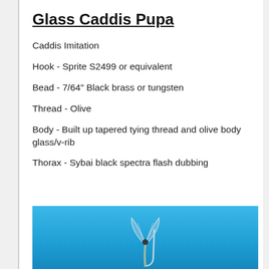Glass Caddis Pupa
Caddis Imitation
Hook - Sprite S2499 or equivalent
Bead - 7/64" Black brass or tungsten
Thread - Olive
Body - Built up tapered tying thread and olive body glass/v-rib
Thorax - Sybai black spectra flash dubbing
[Figure (photo): Photo of Glass Caddis Pupa fly against a blue water background]